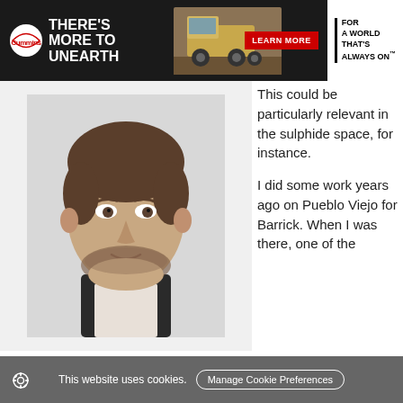[Figure (photo): Cummins banner advertisement with text THERE'S MORE TO UNEARTH, mining truck photo, LEARN MORE button, and FOR A WORLD THAT'S ALWAYS ON tagline]
[Figure (photo): Headshot of Joe Carr, a man with short brown hair and beard wearing a white shirt and dark jacket, photographed against a light background]
Joe Carr, Industry Innovation Director of Mining at Avora
This could be particularly relevant in the sulphide space, for instance.
I did some work years ago on Pueblo Viejo for Barrick. When I was there, one of the